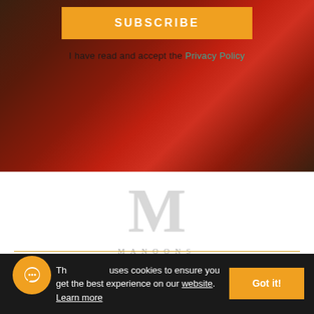[Figure (photo): Background image of red high-heel boots on a light surface with dark/warm background tones]
SUBSCRIBE
I have read and accept the Privacy Policy
[Figure (logo): Manoons brand logo — stylized M letter in grey serif font with 'MANOONS' text below in spaced capitals]
THE MANOONS
IMPORTANT LINKS
This website uses cookies to ensure you get the best experience on our website. Learn more